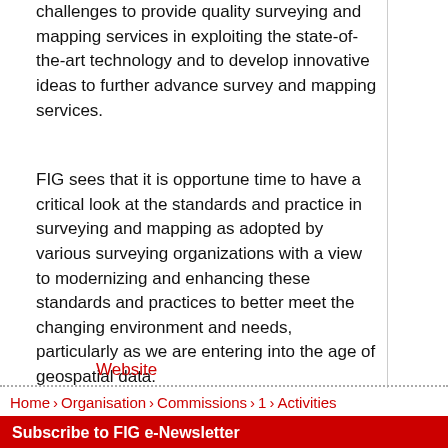challenges to provide quality surveying and mapping services in exploiting the state-of-the-art technology and to develop innovative ideas to further advance survey and mapping services.
FIG sees that it is opportune time to have a critical look at the standards and practice in surveying and mapping as adopted by various surveying organizations with a view to modernizing and enhancing these standards and practices to better meet the changing environment and needs, particularly as we are entering into the age of geospatial data.
Website
Home › Organisation › Commissions › 1 › Activities
Subscribe to FIG e-Newsletter
Email address: